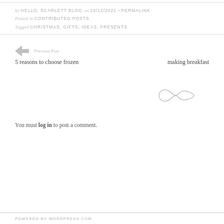by HELLO, SCARLETT BLOG on 10/12/2021 • PERMALINK
Posted in CONTRIBUTED POSTS
Tagged CHRISTMAS, GIFTS, IDEAS, PRESENTS
Previous Post
5 reasons to choose frozen
making breakfast
[Figure (illustration): Decorative swirl/infinity ornament in light gray]
You must log in to post a comment.
POWERED BY WORDPRESS.COM.